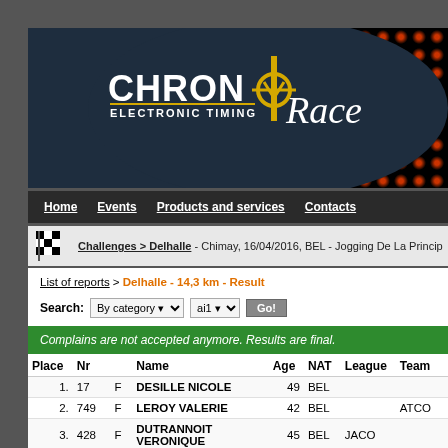[Figure (logo): ChronoRace Electronic Timing logo with white CHRON text, yellow clock icon, and italic Race script on dark navy background with red LED scoreboard on right]
Home | Events | Products and services | Contacts
Challenges > Delhalle - Chimay, 16/04/2016, BEL - Jogging De La Princip...
List of reports > Delhalle - 14,3 km - Result
Search: By category ai1 Go!
Complains are not accepted anymore. Results are final.
| Place | Nr |  | Name | Age | NAT | League | Team |
| --- | --- | --- | --- | --- | --- | --- | --- |
| 1. | 17 | F | DESILLE NICOLE | 49 | BEL |  |  |
| 2. | 749 | F | LEROY VALERIE | 42 | BEL |  | ATCO |
| 3. | 428 | F | DUTRANNOIT VERONIQUE | 45 | BEL | JACO |  |